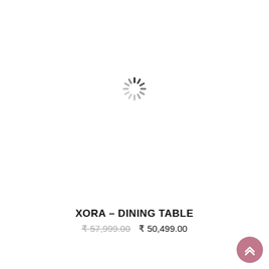[Figure (other): Loading spinner icon centered in the upper portion of the page]
XORA – DINING TABLE
₹ 57,999.00  ₹ 50,499.00
[Figure (other): Back to top button - circular pink/mauve button with double up chevron arrows in the bottom right corner]